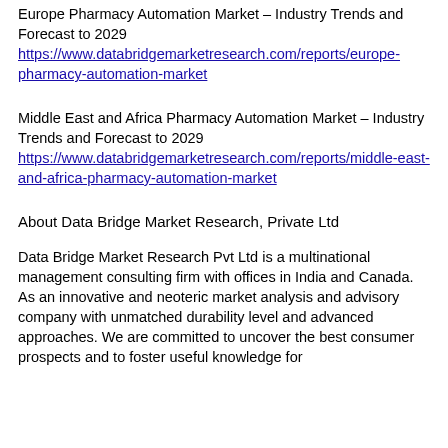Europe Pharmacy Automation Market – Industry Trends and Forecast to 2029
https://www.databridgemarketresearch.com/reports/europe-pharmacy-automation-market
Middle East and Africa Pharmacy Automation Market – Industry Trends and Forecast to 2029
https://www.databridgemarketresearch.com/reports/middle-east-and-africa-pharmacy-automation-market
About Data Bridge Market Research, Private Ltd
Data Bridge Market Research Pvt Ltd is a multinational management consulting firm with offices in India and Canada. As an innovative and neoteric market analysis and advisory company with unmatched durability level and advanced approaches. We are committed to uncover the best consumer prospects and to foster useful knowledge for